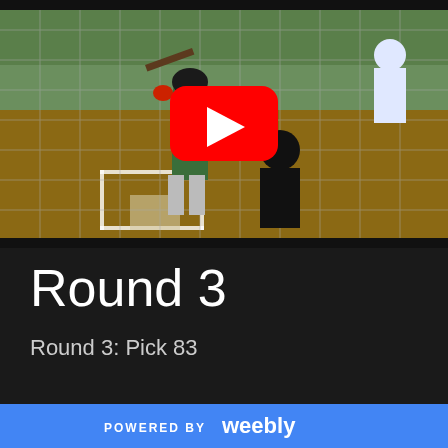[Figure (screenshot): YouTube video thumbnail showing a baseball game scene — a batter in green jersey, catcher, and umpire at home plate with a chain-link fence in the foreground. A large red YouTube play button is centered over the image.]
Round 3
Round 3: Pick 83
POWERED BY weebly